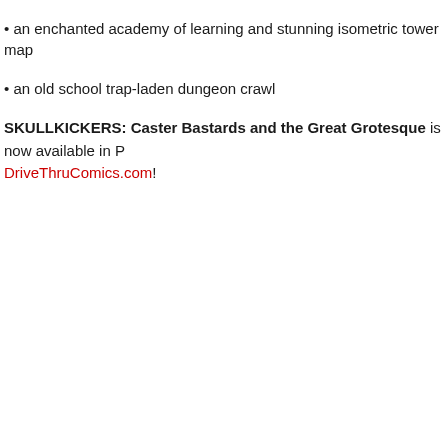• an enchanted academy of learning and stunning isometric tower map
• an old school trap-laden dungeon crawl
SKULLKICKERS: Caster Bastards and the Great Grotesque is now available in PDF at DriveThruComics.com!